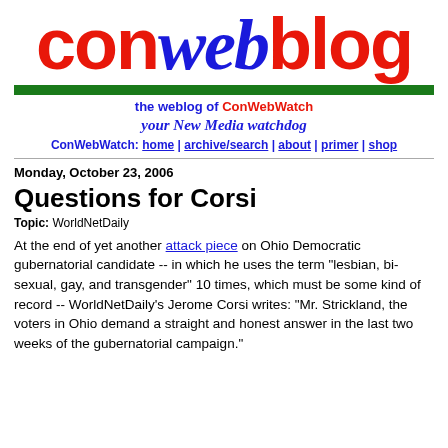[Figure (logo): ConWebBlog logo with 'con' and 'blog' in red, 'web' in blue italic, green bar below]
the weblog of ConWebWatch
your New Media watchdog
ConWebWatch: home | archive/search | about | primer | shop
Monday, October 23, 2006
Questions for Corsi
Topic: WorldNetDaily
At the end of yet another attack piece on Ohio Democratic gubernatorial candidate -- in which he uses the term "lesbian, bi-sexual, gay, and transgender" 10 times, which must be some kind of record -- WorldNetDaily's Jerome Corsi writes: "Mr. Strickland, the voters in Ohio demand a straight and honest answer in the last two weeks of the gubernatorial campaign."